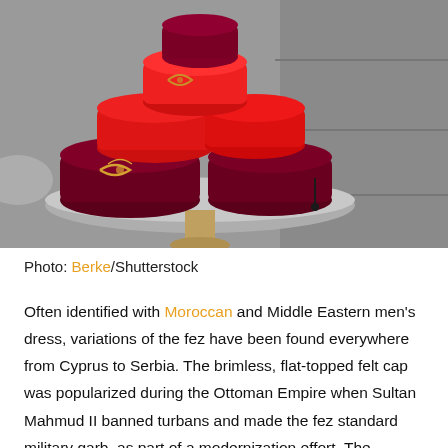[Figure (photo): A stack of red and dark burgundy/maroon fez hats displayed on a tiered stand, photographed from above. Some hats have gold embroidery. The background shows gray stone steps.]
Photo: Berke/Shutterstock
Often identified with Moroccan and Middle Eastern men's dress, variations of the fez have been found everywhere from Cyprus to Serbia. The brimless, flat-topped felt cap was popularized during the Ottoman Empire when Sultan Mahmud II banned turbans and made the fez standard military garb, as part of a modernization effort. The